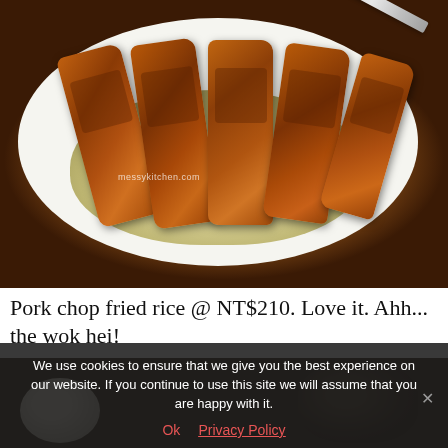[Figure (photo): A plate of pork chop fried rice — sliced grilled pork chops fanned out on top of a mound of egg fried rice on a white plate, on a wooden table. Watermark reads 'messykitchen.com'.]
Pork chop fried rice @ NT$210. Love it. Ahh... the wok hei!
We use cookies to ensure that we give you the best experience on our website. If you continue to use this site we will assume that you are happy with it.
Ok   Privacy Policy